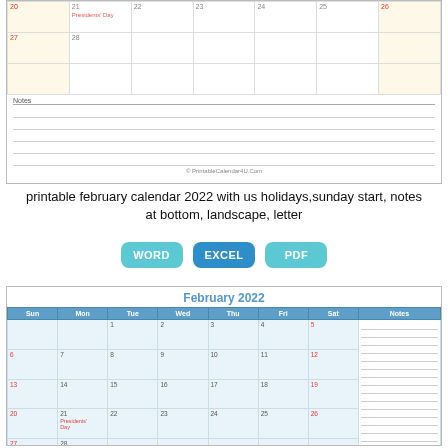[Figure (other): Top portion of a printable February 2022 calendar showing dates 20-28, notes lines, and copyright text]
printable february calendar 2022 with us holidays,sunday start, notes at bottom, landscape, letter
WORD
EXCEL
PDF
[Figure (other): Full February 2022 calendar with Sunday start, US holidays, notes column on right side. Shows February 2022 header, days Sun-Sat with dates 1-28, Presidents Day on 21, and a Notes column on the right.]